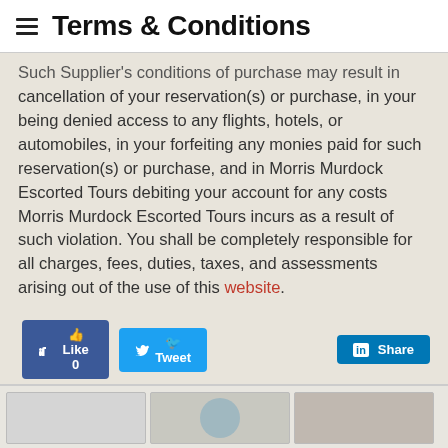Terms & Conditions
Such Supplier's conditions of purchase may result in cancellation of your reservation(s) or purchase, in your being denied access to any flights, hotels, or automobiles, in your forfeiting any monies paid for such reservation(s) or purchase, and in Morris Murdock Escorted Tours debiting your account for any costs Morris Murdock Escorted Tours incurs as a result of such violation. You shall be completely responsible for all charges, fees, duties, taxes, and assessments arising out of the use of this website.
[Figure (screenshot): Social sharing buttons: Like 0 (Facebook), Tweet (Twitter), Share (LinkedIn)]
[Figure (screenshot): Bottom section with thumbnail images partially visible]